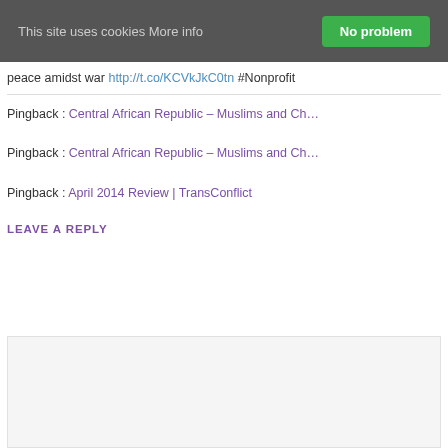This site uses cookies More info  No problem
peace amidst war http://t.co/KCVkJkC0tn #Nonprofit
Pingback : Central African Republic – Muslims and Ch…
Pingback : Central African Republic – Muslims and Ch…
Pingback : April 2014 Review | TransConflict
LEAVE A REPLY